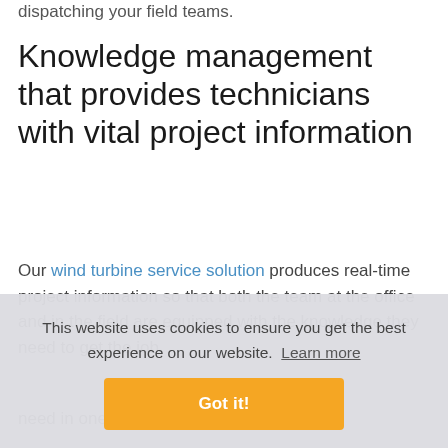dispatching your field teams.
Knowledge management that provides technicians with vital project information
Our wind turbine service solution produces real-time project information so that both the team at the office and in the field are equipped with the knowledge they need to get the job
need in one place
This website uses cookies to ensure you get the best experience on our website. Learn more
Got it!